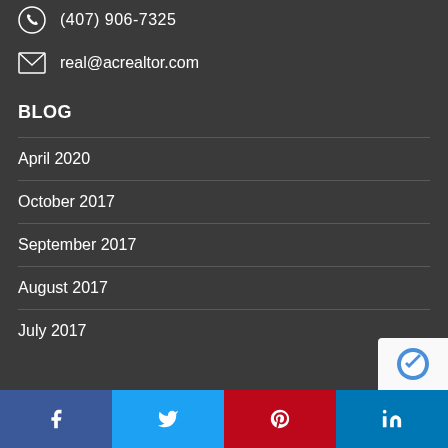(407) 906-7325
real@acrealtor.com
BLOG
April 2020
October 2017
September 2017
August 2017
July 2017
[Figure (other): Social media share buttons: Facebook, Twitter, Pinterest, LinkedIn]